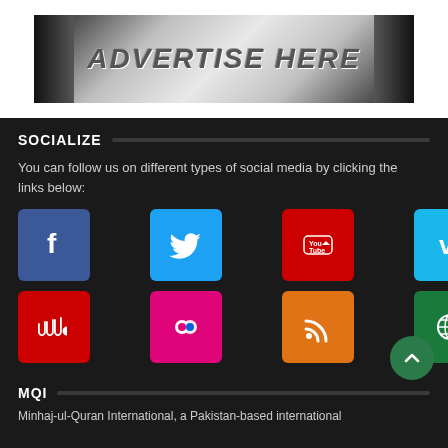[Figure (illustration): Advertise Here banner with metallic silver background and dark corner accents]
SOCIALIZE
You can follow us on different types of social media by clicking the links below:
[Figure (infographic): Social media icons grid: Facebook (blue), Twitter (blue), YouTube (red), Vimeo (light blue), SoundCloud (red), Flickr (pink), RSS (orange), Globe/Website (green)]
MQI
Minhaj-ul-Quran International, a Pakistan-based international